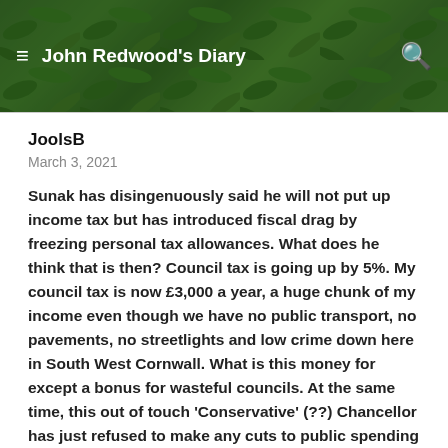John Redwood's Diary
JoolsB
March 3, 2021
Sunak has disingenuously said he will not put up income tax but has introduced fiscal drag by freezing personal tax allowances. What does he think that is then? Council tax is going up by 5%. My council tax is now £3,000 a year, a huge chunk of my income even though we have no public transport, no pavements, no streetlights and low crime down here in South West Cornwall. What is this money for except a bonus for wasteful councils. At the same time, this out of touch 'Conservative' (??) Chancellor has just refused to make any cuts to public spending whilst insultingly bragging how much extra money he's giving the devolved nations through the